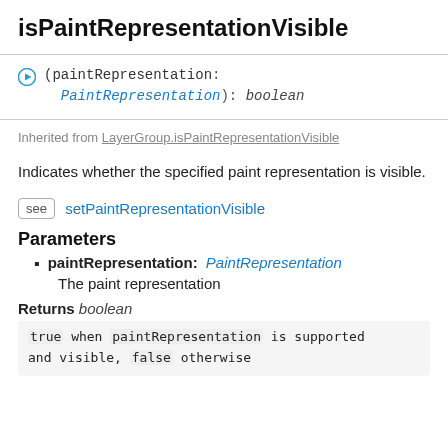isPaintRepresentationVisible
(paintRepresentation: PaintRepresentation): boolean
Inherited from LayerGroup.isPaintRepresentationVisible
Indicates whether the specified paint representation is visible.
see setPaintRepresentationVisible
Parameters
paintRepresentation: PaintRepresentation
The paint representation
Returns boolean
true when paintRepresentation is supported and visible, false otherwise